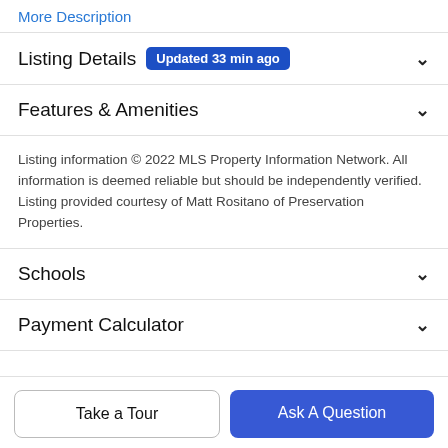More Description
Listing Details  Updated 33 min ago
Features & Amenities
Listing information © 2022 MLS Property Information Network. All information is deemed reliable but should be independently verified. Listing provided courtesy of Matt Rositano of Preservation Properties.
Schools
Payment Calculator
Take a Tour
Ask A Question